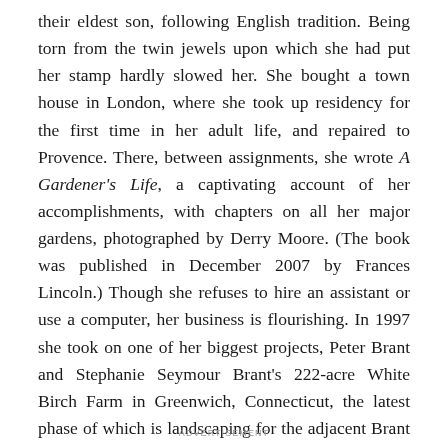their eldest son, following English tradition. Being torn from the twin jewels upon which she had put her stamp hardly slowed her. She bought a town house in London, where she took up residency for the first time in her adult life, and repaired to Provence. There, between assignments, she wrote A Gardener's Life, a captivating account of her accomplishments, with chapters on all her major gardens, photographed by Derry Moore. (The book was published in December 2007 by Frances Lincoln.) Though she refuses to hire an assistant or use a computer, her business is flourishing. In 1997 she took on one of her biggest projects, Peter Brant and Stephanie Seymour Brant's 222-acre White Birch Farm in Greenwich, Connecticut, the latest phase of which is landscaping for the adjacent Brant Foundation Art Study Center, which will open to the public next spring.
ADVERTISEMENT